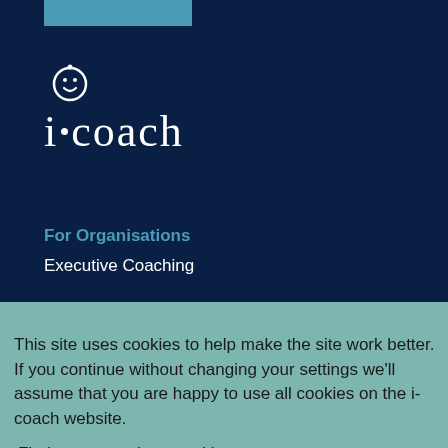[Figure (logo): i-coach logo with circular smiley icon above stylized i·coach text in white on dark navy background]
For Organisations
Executive Coaching
Team & Group Coaching
This site uses cookies to help make the site work better. If you continue without changing your settings we'll assume that you are happy to use all cookies on the i-coach website.
Find out more about cookies
Got it!
Individual Coaching Services
eLearning
Learning Journey